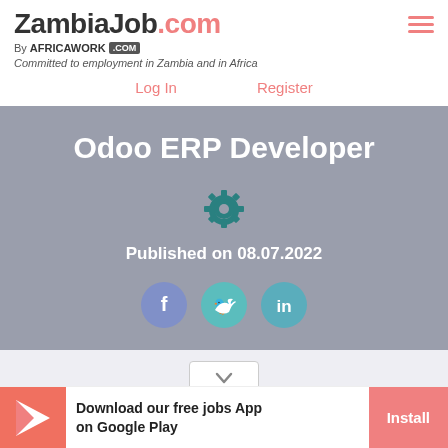ZambiaJob.com — By AFRICAWORK .COM — Committed to employment in Zambia and in Africa
Log In    Register
Odoo ERP Developer
Published on 08.07.2022
[Figure (infographic): Social share icons: Facebook (f), Twitter bird, LinkedIn (in) as circular buttons on grey background]
Download our free jobs App on Google Play
Install